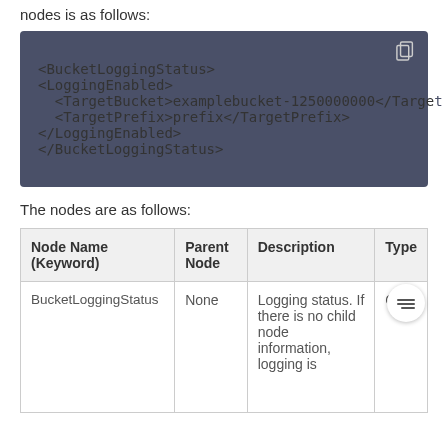nodes is as follows:
[Figure (screenshot): Code block showing XML for BucketLoggingStatus with LoggingEnabled, TargetBucket, TargetPrefix nodes on dark blue/grey background]
The nodes are as follows:
| Node Name (Keyword) | Parent Node | Description | Type |
| --- | --- | --- | --- |
| BucketLoggingStatus | None | Logging status. If there is no child node information, logging is | C |